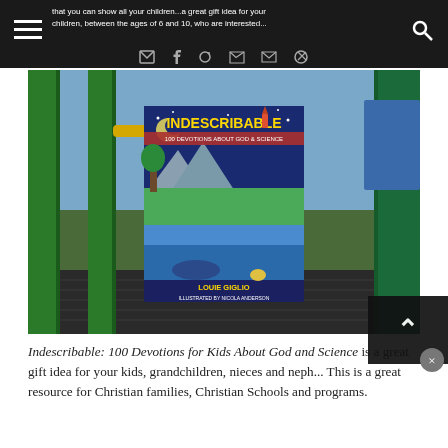that you can show all your children ...  100 Devotions for Kids About God and Science
[Figure (photo): Photo of the book 'Indescribable: 100 Devotions About God & Science' by Louie Giglio, illustrated by Nicola Anderson, placed on a playground structure with green metal bars, yellow equipment, and a park background.]
Indescribable: 100 Devotions for Kids About God and Science is a great gift idea for your kids, grandchildren, nieces and nephews. This is a great resource for Christian families, Christian Schools and programs.